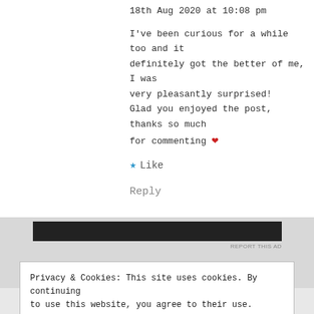18th Aug 2020 at 10:08 pm
I've been curious for a while too and it definitely got the better of me, I was very pleasantly surprised! Glad you enjoyed the post, thanks so much for commenting ❤
★ Like
Reply
[Figure (other): Advertisement banner - black bar with 'REPORT THIS AD' label]
Privacy & Cookies: This site uses cookies. By continuing to use this website, you agree to their use. To find out more, including how to control cookies, see here: Cookie Policy
Close and accept